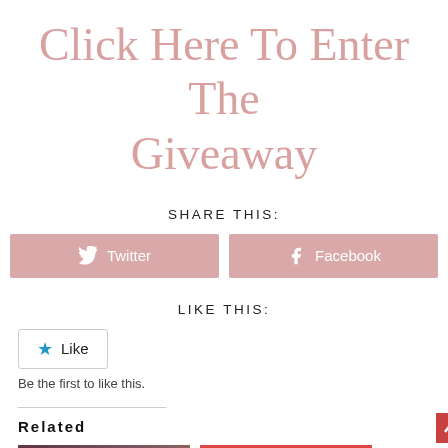Click Here To Enter The Giveaway
SHARE THIS:
Twitter  Facebook
LIKE THIS:
Like
Be the first to like this.
Related
[Figure (photo): month in REVIEW blog thumbnail with dark floral background]
[Figure (photo): Ask Me a Question red overlay card with cosmetics/accessories background]